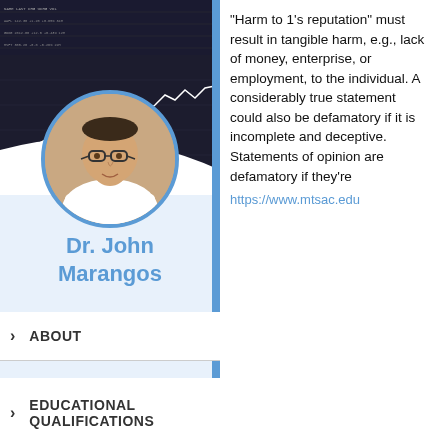[Figure (photo): Background financial chart/trading screen (dark background with white line chart and data table)]
[Figure (photo): Circular profile photo of Dr. John Marangos, a middle-aged man with glasses in a white shirt, inside a blue-bordered circle]
Dr. John Marangos
ABOUT
EDUCATIONAL QUALIFICATIONS
“Harm to 1’s reputation” must result in tangible harm, e.g., lack of money, enterprise, or employment, to the individual. A considerably true statement could also be defamatory if it is incomplete and deceptive. Statements of opinion are defamatory if they’re
https://www.mtsac.edu